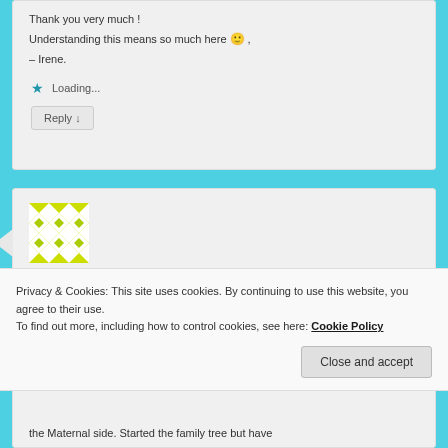Thank you very much !
Understanding this means so much here 🙂 ,
– Irene.
Loading...
Reply ↓
[Figure (illustration): Green and white geometric pattern avatar for Cynthia Carrasco]
Cynthia Carrasco on November 7, 2019 at 3:23 am
Privacy & Cookies: This site uses cookies. By continuing to use this website, you agree to their use.
To find out more, including how to control cookies, see here: Cookie Policy
Close and accept
the Maternal side. Started the family tree but have